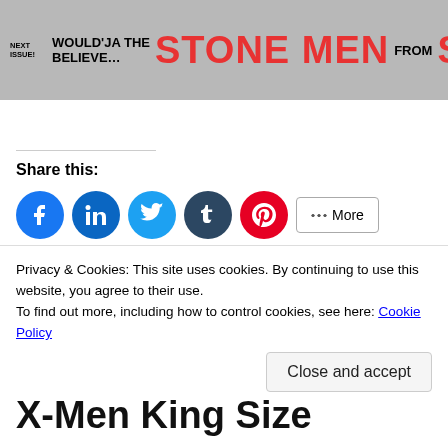[Figure (illustration): Comic book banner showing 'NEXT ISSUE: WOULD'JA BELIEVE... STONE MEN FROM SATURN!' in large red and black text on a gray background]
Share this:
[Figure (infographic): Row of social media share buttons: Facebook (blue circle), LinkedIn (blue circle), Twitter (light blue circle), Tumblr (dark blue circle), Pinterest (red circle), and a More button]
[Figure (infographic): Like button with star icon and a small avatar photo next to it]
One blogger likes this.
Privacy & Cookies: This site uses cookies. By continuing to use this website, you agree to their use.
To find out more, including how to control cookies, see here: Cookie Policy
Close and accept
X-Men King Size